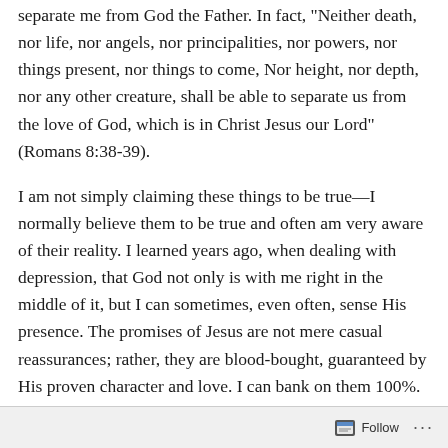separate me from God the Father. In fact, "Neither death, nor life, nor angels, nor principalities, nor powers, nor things present, nor things to come, Nor height, nor depth, nor any other creature, shall be able to separate us from the love of God, which is in Christ Jesus our Lord" (Romans 8:38-39).
I am not simply claiming these things to be true—I normally believe them to be true and often am very aware of their reality. I learned years ago, when dealing with depression, that God not only is with me right in the middle of it, but I can sometimes, even often, sense His presence. The promises of Jesus are not mere casual reassurances; rather, they are blood-bought, guaranteed by His proven character and love. I can bank on them 100%. So can you.
Somehow when my old companion Depression visits me, I
Follow